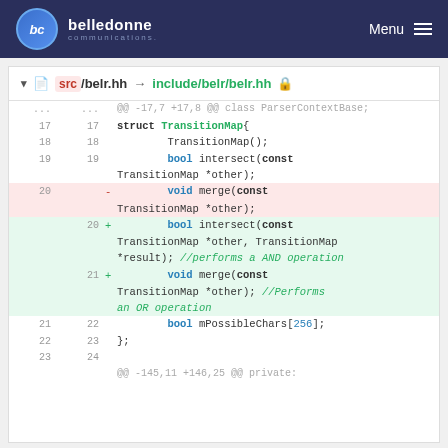belledonne communications — Menu
src/belr.hh → include/belr/belr.hh
@@ -17,7 +17,8 @@ class ParserContextBase;
17 17   struct TransitionMap{
18 18       TransitionMap();
19 19       bool intersect(const TransitionMap *other);
20    -       void merge(const TransitionMap *other);
   20 +       bool intersect(const TransitionMap *other, TransitionMap *result); //performs a AND operation
   21 +       void merge(const TransitionMap *other); //Performs an OR operation
21 22       bool mPossibleChars[256];
22 23   };
23 24
@@ -145,11 +146,25 @@ private: